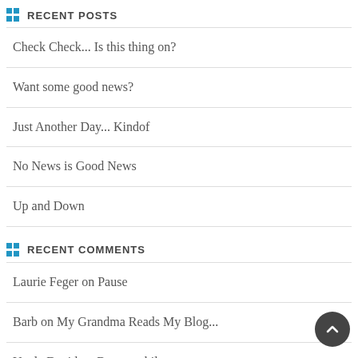RECENT POSTS
Check Check... Is this thing on?
Want some good news?
Just Another Day... Kindof
No News is Good News
Up and Down
RECENT COMMENTS
Laurie Feger on Pause
Barb on My Grandma Reads My Blog...
Uncle David on Been a while...
Carrie Sutherland on Now's not a good time...